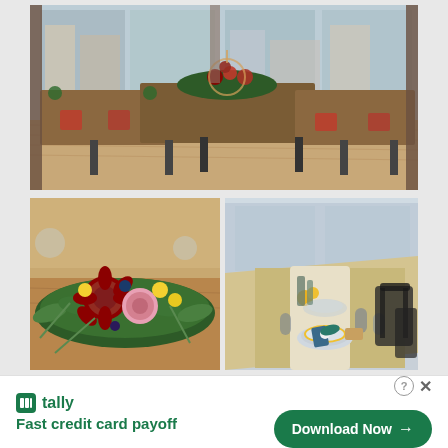[Figure (photo): A collage of three event/wedding venue photos showing decorated long dining tables with floral arrangements. Top: wide interior shot of a restaurant with floor-to-ceiling windows, long tables, mixed chairs, and floral centerpieces. Bottom-left: close-up of a lush floral centerpiece with dark red, pink, yellow flowers and greenery on a wooden table. Bottom-right: angled view down a long set dining table with place settings, glasses, yellow flowers, and black chairs.]
tally
Fast credit card payoff
Download Now →